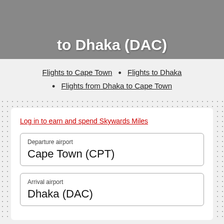to Dhaka (DAC)
Flights to Cape Town
Flights to Dhaka
Flights from Dhaka to Cape Town
Log in to earn and spend Skywards Miles
Departure airport
Cape Town (CPT)
Arrival airport
Dhaka (DAC)